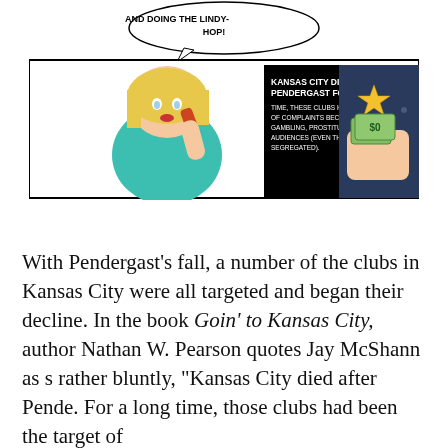[Figure (illustration): Comic-style illustration showing a woman on the phone with a speech bubble reading 'AND DOING THE LINDY-HOP!' and a black panel with text 'KANSAS CITY DIED AFTER PENDERGAST FOR A LONG TIME, THESE CLUBS HAD BEEN THE TARGET OF COMPLAINTS BECAUSE OF THE BOOZE, GAMBLING, PROSTITUTION AND INTEGRATED AUDIENCES (EVEN THOUGH MANY CLUBS WERE SEGREGATED).' On the right side, a police officer's hand pocketing money with a gold star badge visible.]
With Pendergast's fall, a number of the clubs in Kansas City were all targeted and began their decline. In the book Goin' to Kansas City, author Nathan W. Pearson quotes Jay McShann as s rather bluntly, "Kansas City died after Pende. For a long time, those clubs had been the target of